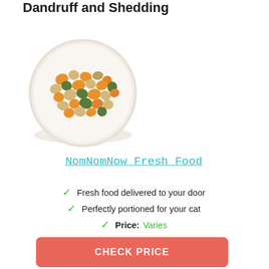Our 2022 Picks: Best Cat Litters for Dandruff and Shedding
[Figure (photo): A white bowl filled with chunky cat food — orange, beige, and green colored pieces — viewed from slightly above.]
NomNomNow Fresh Food
Fresh food delivered to your door
Perfectly portioned for your cat
Price: Varies
CHECK PRICE